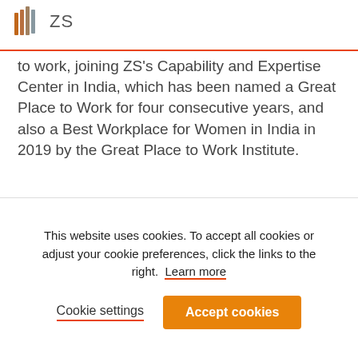ZS
to work, joining ZS's Capability and Expertise Center in India, which has been named a Great Place to Work for four consecutive years, and also a Best Workplace for Women in India in 2019 by the Great Place to Work Institute.
[Figure (logo): Great Place To Work red logo badge, partially cropped]
This website uses cookies. To accept all cookies or adjust your cookie preferences, click the links to the right.  Learn more
Cookie settings   Accept cookies